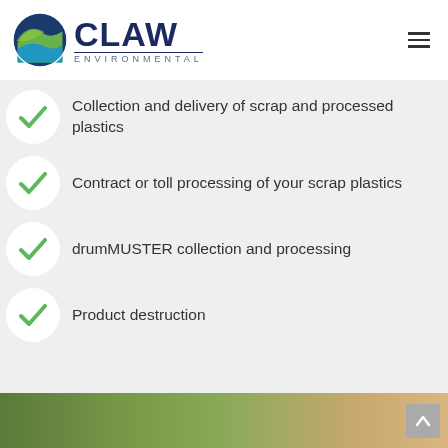[Figure (logo): CLAW Environmental logo with circular blue/green icon and bold navy CLAW text above ENVIRONMENTAL]
Collection and delivery of scrap and processed plastics
Contract or toll processing of your scrap plastics
drumMUSTER collection and processing
Product destruction
[Figure (photo): Close-up photo of green plastic pellets/granules]